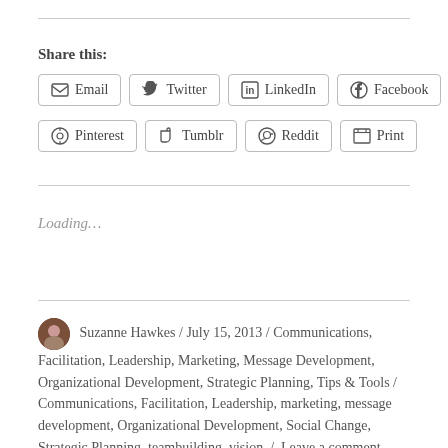Share this:
Email
Twitter
LinkedIn
Facebook
Pinterest
Tumblr
Reddit
Print
Loading…
Suzanne Hawkes / July 15, 2013 / Communications, Facilitation, Leadership, Marketing, Message Development, Organizational Development, Strategic Planning, Tips & Tools / Communications, Facilitation, Leadership, marketing, message development, Organizational Development, Social Change, Strategic Planning, teambuilding, vision / Leave a comment